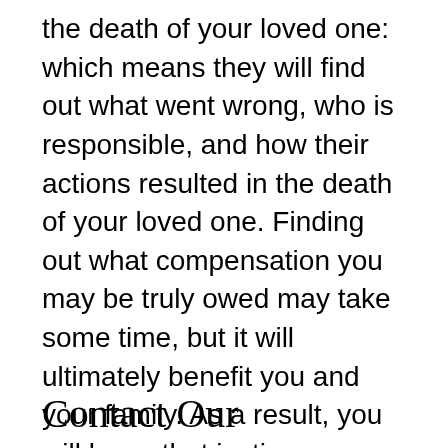the death of your loved one: which means they will find out what went wrong, who is responsible, and how their actions resulted in the death of your loved one. Finding out what compensation you may be truly owed may take some time, but it will ultimately benefit you and your family. As a result, you will know that justice was served and that the people or persons who are responsible for your loved one's death are held accountable.
Contact Our